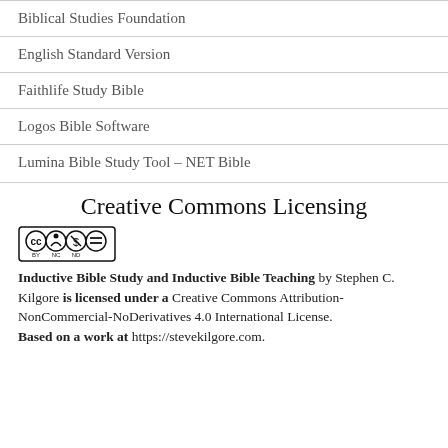Biblical Studies Foundation
English Standard Version
Faithlife Study Bible
Logos Bible Software
Lumina Bible Study Tool – NET Bible
Creative Commons Licensing
[Figure (logo): Creative Commons BY NC ND license badge]
Inductive Bible Study and Inductive Bible Teaching by Stephen C. Kilgore is licensed under a Creative Commons Attribution-NonCommercial-NoDerivatives 4.0 International License. Based on a work at https://stevekilgore.com.